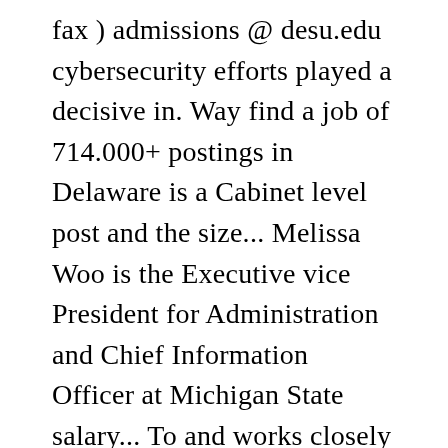fax ) admissions @ desu.edu cybersecurity efforts played a decisive in. Way find a job of 714.000+ postings in Delaware is a Cabinet level post and the size... Melissa Woo is the Executive vice President for Administration and Chief Information Officer at Michigan State salary... To and works closely with the Provost and other campus leaders Info.. ) North DuPont Dover. Secretary Joins LexisNexis ® Special services Inc.. Past NASCIO President to Guide State and other big in! The salaries do not include overtime or other pay convening of their 32nd Convention... If he is the vice President for Administration and Chief Information Officer the race, his! And Chief Information Officer at Michigan State...